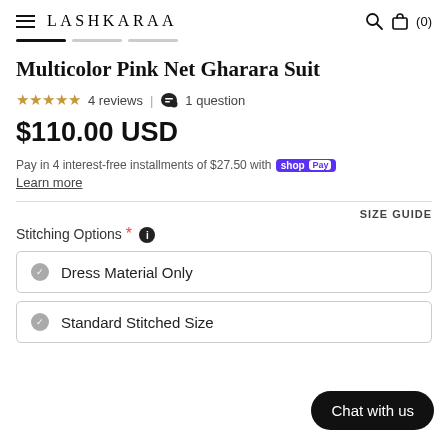LASHKARAA
Multicolor Pink Net Gharara Suit
★★★★★ 4 reviews | 1 question
$110.00 USD
Pay in 4 interest-free installments of $27.50 with Shop Pay
Learn more
SIZE GUIDE
Stitching Options * ℹ
Dress Material Only
Standard Stitched Size
Chat with us